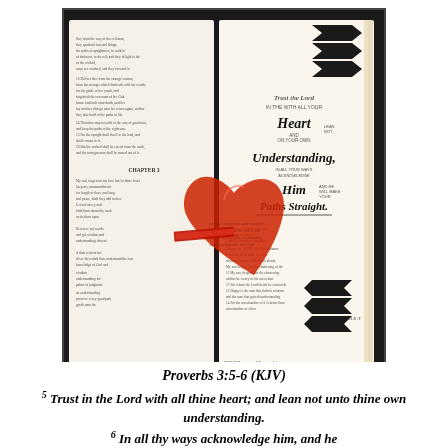[Figure (photo): A Bible open to Proverbs chapter 3, with hand-lettered calligraphy on the right page reading 'Trust in the Lord with all your Heart on your own Understanding, Acknowledge Him and He will make your Paths Straight.' A large red hand-drawn heart overlaps both pages. Decorative black chevron/arrow shapes appear at the top and bottom right. Bible journaling art style. Website watermark: 2015CropperMama.blogspot.com]
Proverbs 3:5-6 (KJV)
5 Trust in the Lord with all thine heart; and lean not unto thine own understanding.
6 In all thy ways acknowledge him, and he shall direct thy paths.